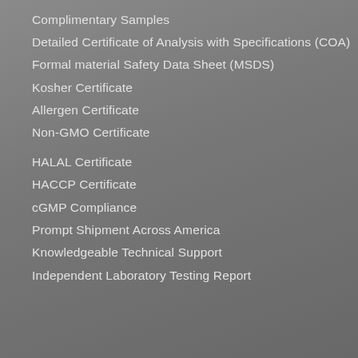Complimentary Samples
Detailed Certificate of Analysis with Specifications (COA)
Formal material Safety Data Sheet (MSDS)
Kosher Certificate
Allergen Certificate
Non-GMO Certificate
HALAL Certificate
HACCP Certificate
cGMP Compliance
Prompt Shipment Across America
Knowledgeable Technical Support
Independent Laboratory Testing Report